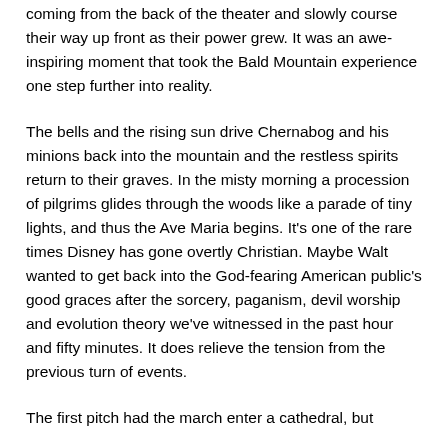coming from the back of the theater and slowly course their way up front as their power grew. It was an awe-inspiring moment that took the Bald Mountain experience one step further into reality.
The bells and the rising sun drive Chernabog and his minions back into the mountain and the restless spirits return to their graves. In the misty morning a procession of pilgrims glides through the woods like a parade of tiny lights, and thus the Ave Maria begins. It's one of the rare times Disney has gone overtly Christian. Maybe Walt wanted to get back into the God-fearing American public's good graces after the sorcery, paganism, devil worship and evolution theory we've witnessed in the past hour and fifty minutes. It does relieve the tension from the previous turn of events.
The first pitch had the march enter a cathedral, but